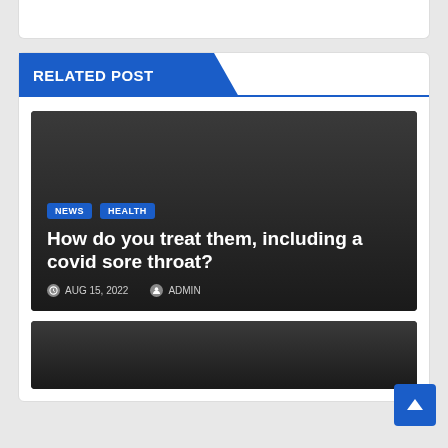RELATED POST
[Figure (screenshot): Dark themed post card with NEWS and HEALTH tags, title: How do you treat them, including a covid sore throat?, dated AUG 15, 2022, by ADMIN]
How do you treat them, including a covid sore throat?
AUG 15, 2022  ADMIN